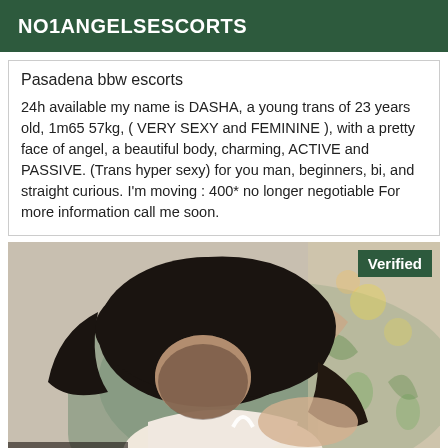NO1ANGELSESCORTS
Pasadena bbw escorts
24h available my name is DASHA, a young trans of 23 years old, 1m65 57kg, ( VERY SEXY and FEMININE ), with a pretty face of angel, a beautiful body, charming, ACTIVE and PASSIVE. (Trans hyper sexy) for you man, beginners, bi, and straight curious. I'm moving : 400* no longer negotiable For more information call me soon.
[Figure (photo): Woman with dark hair lying down, wearing white, with a floral background. A green 'Verified' badge in the top right corner.]